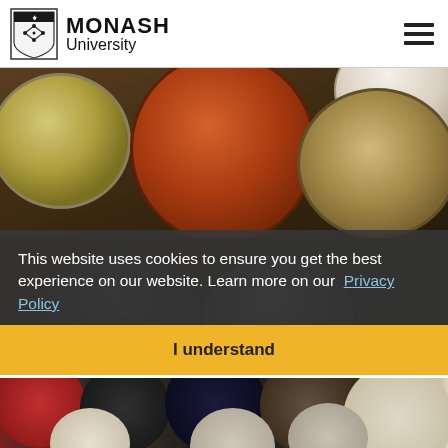MONASH University
[Figure (photo): Bowls of various grains, seeds, and legumes including yellow split peas, orange/red lentils, oats, chia seeds on dark background]
This website uses cookies to ensure you get the best experience on our website. Learn more on our Privacy Policy
I understand
Using non-traditional cereals and grains
[Figure (photo): Bowls of various colorful seeds and spices seen from above including red peppercorns, black seeds, blueberries, and white seeds]